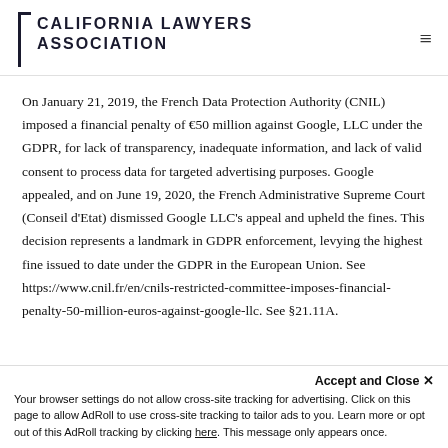CALIFORNIA LAWYERS ASSOCIATION
On January 21, 2019, the French Data Protection Authority (CNIL) imposed a financial penalty of €50 million against Google, LLC under the GDPR, for lack of transparency, inadequate information, and lack of valid consent to process data for targeted advertising purposes. Google appealed, and on June 19, 2020, the French Administrative Supreme Court (Conseil d'Etat) dismissed Google LLC's appeal and upheld the fines. This decision represents a landmark in GDPR enforcement, levying the highest fine issued to date under the GDPR in the European Union. See https://www.cnil.fr/en/cnils-restricted-committee-imposes-financial-penalty-50-million-euros-against-google-llc. See §21.11A.
Accept and Close ✕ Your browser settings do not allow cross-site tracking for advertising. Click on this page to allow AdRoll to use cross-site tracking to tailor ads to you. Learn more or opt out of this AdRoll tracking by clicking here. This message only appears once.